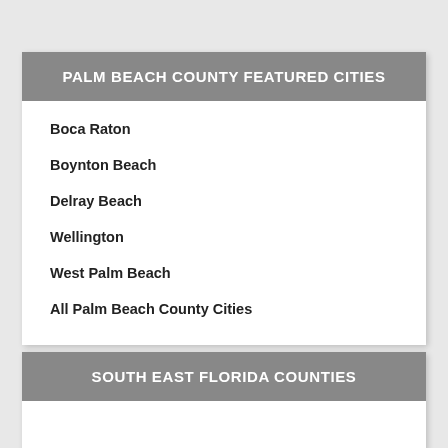PALM BEACH COUNTY FEATURED CITIES
Boca Raton
Boynton Beach
Delray Beach
Wellington
West Palm Beach
All Palm Beach County Cities
SOUTH EAST FLORIDA COUNTIES